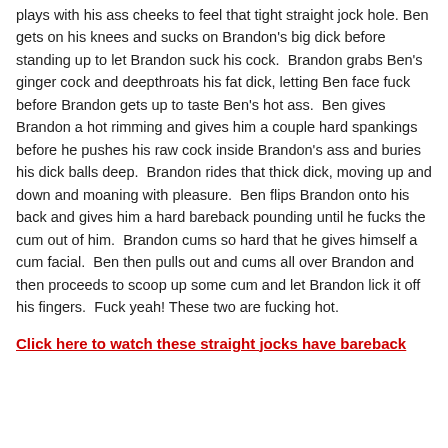plays with his ass cheeks to feel that tight straight jock hole. Ben gets on his knees and sucks on Brandon's big dick before standing up to let Brandon suck his cock. Brandon grabs Ben's ginger cock and deepthroats his fat dick, letting Ben face fuck before Brandon gets up to taste Ben's hot ass. Ben gives Brandon a hot rimming and gives him a couple hard spankings before he pushes his raw cock inside Brandon's ass and buries his dick balls deep. Brandon rides that thick dick, moving up and down and moaning with pleasure. Ben flips Brandon onto his back and gives him a hard bareback pounding until he fucks the cum out of him. Brandon cums so hard that he gives himself a cum facial. Ben then pulls out and cums all over Brandon and then proceeds to scoop up some cum and let Brandon lick it off his fingers. Fuck yeah! These two are fucking hot.
Click here to watch these straight jocks have bareback